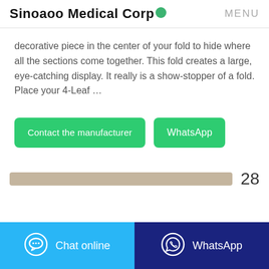Sinoaoo Medical Corp  MENU
decorative piece in the center of your fold to hide where all the sections come together. This fold creates a large, eye-catching display. It really is a show-stopper of a fold. Place your 4-Leaf …
[Figure (screenshot): Two green buttons: 'Contact the manufacturer' and 'WhatsApp']
[Figure (screenshot): Scroll bar with page number 28]
Chat online   WhatsApp